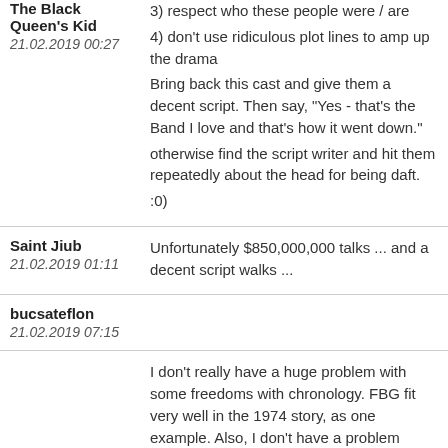3) respect who these people were / are
4) don't use ridiculous plot lines to amp up the drama
Bring back this cast and give them a decent script. Then say, "Yes - that's the Band I love and that's how it went down."
otherwise find the script writer and hit them repeatedly about the head for being daft.
:0)
The Black Queen's Kid
21.02.2019 00:27
Saint Jiub
21.02.2019 01:11
Unfortunately $850,000,000 talks ... and a decent script walks ...
bucsateflon
21.02.2019 07:15
I don't really have a huge problem with some freedoms with chronology. FBG fit very well in the 1974 story, as one example. Also, I don't have a problem